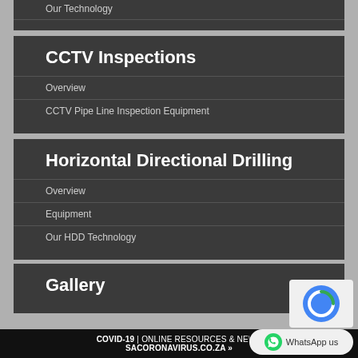Our Technology
CCTV Inspections
Overview
CCTV Pipe Line Inspection Equipment
Horizontal Directional Drilling
Overview
Equipment
Our HDD Technology
Gallery
COVID-19 | ONLINE RESOURCES & NEWS SACORONAVIRUS.CO.ZA »